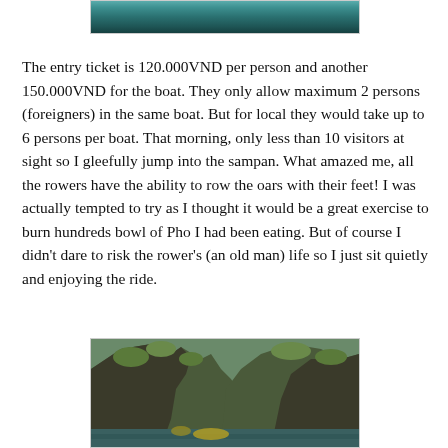[Figure (photo): Top portion of a photo showing a river or lake with reflections, partially visible]
The entry ticket is 120.000VND per person and another 150.000VND for the boat. They only allow maximum 2 persons (foreigners) in the same boat. But for local they would take up to 6 persons per boat. That morning, only less than 10 visitors at sight so I gleefully jump into the sampan. What amazed me, all the rowers have the ability to row the oars with their feet! I was actually tempted to try as I thought it would be a great exercise to burn hundreds bowl of Pho I had been eating. But of course I didn't dare to risk the rower's (an old man) life so I just sit quietly and enjoying the ride.
[Figure (photo): Tall limestone karst cliffs covered in green vegetation, photographed from a boat on the river below]